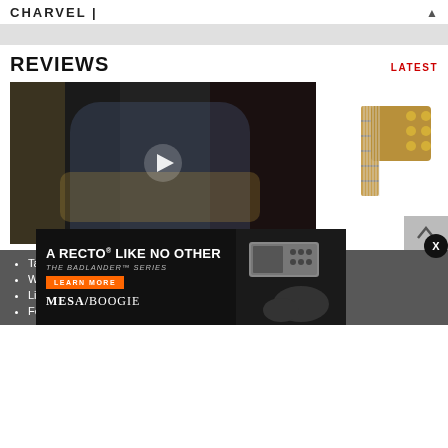CHARVEL |
REVIEWS
LATEST
[Figure (photo): Video thumbnail showing a man playing an electric guitar (Fender Stratocaster sunburst) in a room with amplifiers in the background. A white play button overlay is centered on the image. To the right, a partial view of an acoustic guitar headstock.]
Taylor…
Walm…
Line …
Fender Player Plus Meteora HH Review
[Figure (advertisement): Mesa/Boogie ad: 'A RECTO LIKE NO OTHER — THE BADLANDER SERIES'. Orange LEARN MORE button. Mesa/Boogie logo. Image of a guitar amplifier head and electric guitar on the right.]